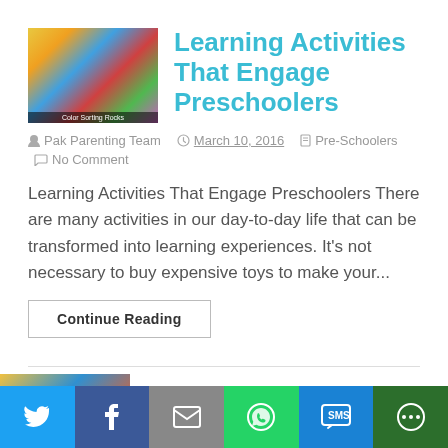[Figure (photo): Thumbnail image of colorful objects (colored eggs/balls in a basket), labeled 'Color Sorting Rocks']
Learning Activities That Engage Preschoolers
Pak Parenting Team   March 10, 2016   Pre-Schoolers   No Comment
Learning Activities That Engage Preschoolers There are many activities in our day-to-day life that can be transformed into learning experiences. It's not necessary to buy expensive toys to make your...
Continue Reading
[Figure (photo): Partial thumbnail of next article about Motor Skills Milestones]
Motor Skills Milestones of
[Figure (infographic): Social sharing bar with Twitter, Facebook, Email, WhatsApp, SMS, and More buttons]